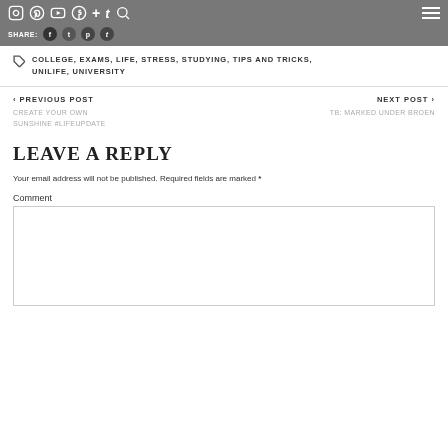Social media icons and share row
COLLEGE, EXAMS, LIFE, STRESS, STUDYING, TIPS AND TRICKS, UNILIFE, UNIVERSITY
< PREVIOUS POST
CREATE YOUR OWN SUNSHINE #LIFEUPDATE
NEXT POST >
TB: MARKED UNDER BROEN
LEAVE A REPLY
Your email address will not be published. Required fields are marked *
Comment